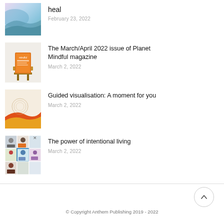heal
February 23, 2022
The March/April 2022 issue of Planet Mindful magazine
March 2, 2022
Guided visualisation: A moment for you
March 2, 2022
The power of intentional living
March 2, 2022
© Copyright Anthem Publishing 2019 - 2022